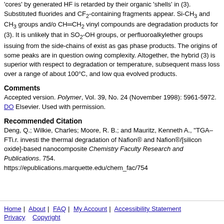'cores' by generated HF is retarded by their organic 'shells' in (3). Substituted fluorides and CF2-containing fragments appear. Si-CH3 and CH3 groups and/or CH=CH2 vinyl compounds are degradation products for (3). It is unlikely that in SO2-OH groups, or perfluoroalkylether groups issuing from the side-chains of exist as gas phase products. The origins of some peaks are in question owing complexity. Altogether, the hybrid (3) is superior with respect to degradation or temperature, subsequent mass loss over a range of about 100°C, and low qua evolved products.
Comments
Accepted version. Polymer, Vol. 39, No. 24 (November 1998): 5961-5972. DO Elsevier. Used with permission.
Recommended Citation
Deng, Q.; Wilkie, Charles; Moore, R. B.; and Mauritz, Kenneth A., "TGA–FTi.r. investi the thermal degradation of Nafion® and Nafion®/[silicon oxide]-based nanocomposite Chemistry Faculty Research and Publications. 754. https://epublications.marquette.edu/chem_fac/754
Home | About | FAQ | My Account | Accessibility Statement Privacy  Copyright